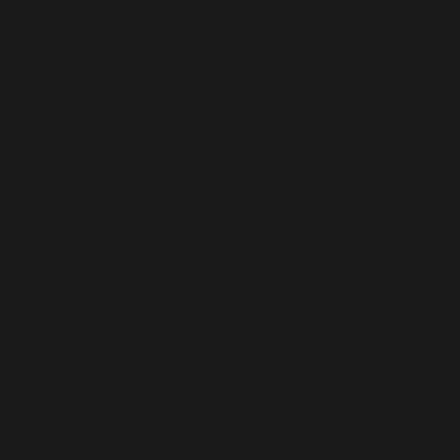trac-admin /path/to...
Uninstalling
Neither easy_install n... usually trivial to remove a g...
Do easy_install -m [...] packages/easy-install...
Delete executables from /... find what executables are i...
Delete the .egg file or folde... packages/.
Restart the web server.
If you are uncertain about t... myplugin with whatever...
[Figure (screenshot): Python code block showing: >>> import myplugin, >>> print myplugin.__, /opt/local/python24/]
SETTING UP THE PLU...
Some plugins will need to b...